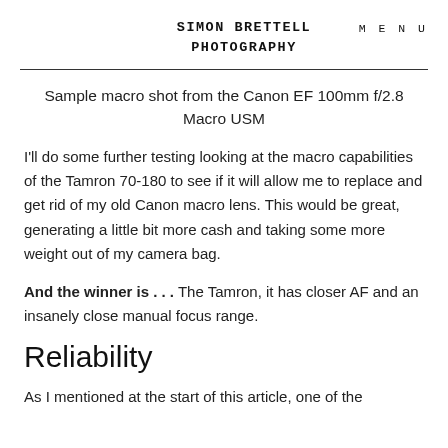SIMON BRETTELL PHOTOGRAPHY
MENU
Sample macro shot from the Canon EF 100mm f/2.8 Macro USM
I'll do some further testing looking at the macro capabilities of the Tamron 70-180 to see if it will allow me to replace and get rid of my old Canon macro lens. This would be great, generating a little bit more cash and taking some more weight out of my camera bag.
And the winner is . . . The Tamron, it has closer AF and an insanely close manual focus range.
Reliability
As I mentioned at the start of this article, one of the